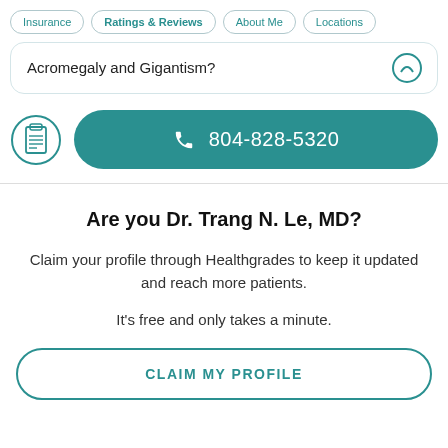Insurance | Ratings & Reviews | About Me | Locations
Acromegaly and Gigantism?
804-828-5320
Are you Dr. Trang N. Le, MD?
Claim your profile through Healthgrades to keep it updated and reach more patients.
It’s free and only takes a minute.
CLAIM MY PROFILE